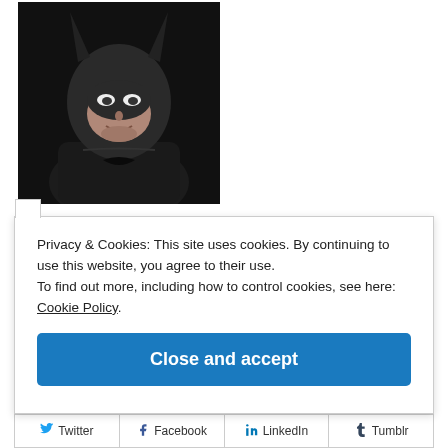[Figure (photo): A person dressed as Batman wearing a dark cowl/mask and black armored suit, photographed against a dark background.]
Privacy & Cookies: This site uses cookies. By continuing to use this website, you agree to their use.
To find out more, including how to control cookies, see here: Cookie Policy.
Close and accept
Twitter  Facebook  LinkedIn  Tumblr